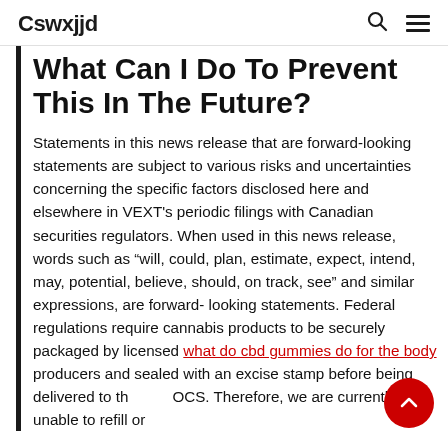Cswxjjd
What Can I Do To Prevent This In The Future?
Statements in this news release that are forward-looking statements are subject to various risks and uncertainties concerning the specific factors disclosed here and elsewhere in VEXT's periodic filings with Canadian securities regulators. When used in this news release, words such as “will, could, plan, estimate, expect, intend, may, potential, believe, should, on track, see” and similar expressions, are forward- looking statements. Federal regulations require cannabis products to be securely packaged by licensed what do cbd gummies do for the body producers and sealed with an excise stamp before being delivered to the OCS. Therefore, we are currently unable to refill or